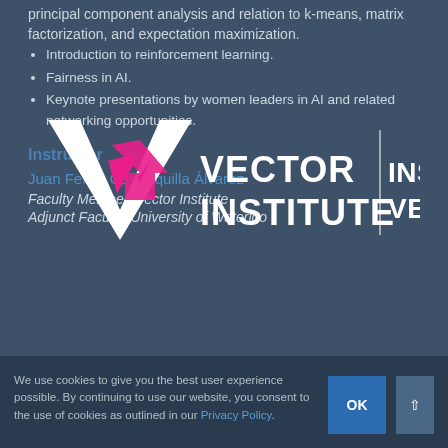principal component analysis and relation to k-means, matrix factorization, and expectation maximization.
Introduction to reinforcement learning.
Fairness in AI.
Keynote presentations by women leaders in AI and related networking opportunities.
[Figure (logo): Vector Institute / Institut Vecteur logo with V symbol and pink arrow]
Instructor
Juan Felipe Carrasquilla Álvarez
Faculty Member, Vector Institute
Adjunct Faculty, University of Waterloo
We use cookies to give you the best user experience possible. By continuing to use our website, you consent to the use of cookies as outlined in our Privacy Policy.